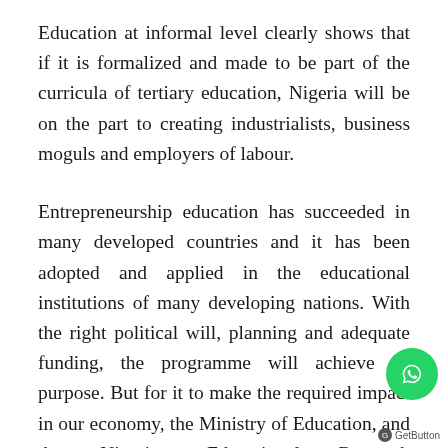Education at informal level clearly shows that if it is formalized and made to be part of the curricula of tertiary education, Nigeria will be on the part to creating industrialists, business moguls and employers of labour.
Entrepreneurship education has succeeded in many developed countries and it has been adopted and applied in the educational institutions of many developing nations. With the right political will, planning and adequate funding, the programme will achieve its purpose. But for it to make the required impact in our economy, the Ministry of Education, and the Nigerian Educational Research Development Council (NERDC) should work together with all other relevant institutions and